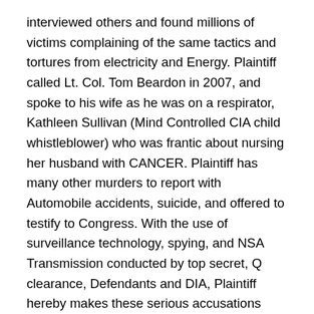interviewed others and found millions of victims complaining of the same tactics and tortures from electricity and Energy. Plaintiff called Lt. Col. Tom Beardon in 2007, and spoke to his wife as he was on a respirator, Kathleen Sullivan (Mind Controlled CIA child whistleblower) who was frantic about nursing her husband with CANCER. Plaintiff has many other murders to report with Automobile accidents, suicide, and offered to testify to Congress. With the use of surveillance technology, spying, and NSA Transmission conducted by top secret, Q clearance, Defendants and DIA, Plaintiff hereby makes these serious accusations against the United States Secret Government for the past 50 years on U.S. Soil.
JURISDICTION AND VENUE
26. This court has subject matter jurisdiction over the